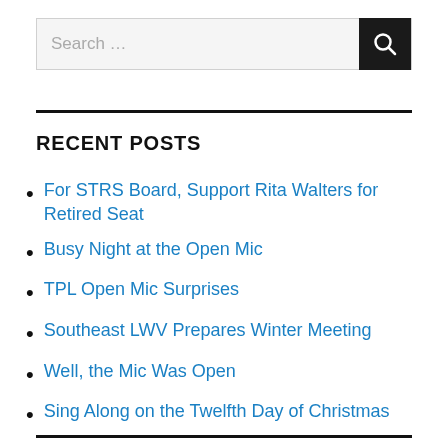[Figure (screenshot): Search bar with text 'Search ...' and dark search button with magnifying glass icon]
RECENT POSTS
For STRS Board, Support Rita Walters for Retired Seat
Busy Night at the Open Mic
TPL Open Mic Surprises
Southeast LWV Prepares Winter Meeting
Well, the Mic Was Open
Sing Along on the Twelfth Day of Christmas